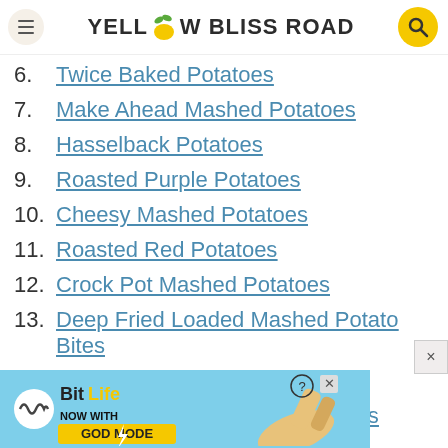Yellow Bliss Road
6. Twice Baked Potatoes
7. Make Ahead Mashed Potatoes
8. Hasselback Potatoes
9. Roasted Purple Potatoes
10. Cheesy Mashed Potatoes
11. Roasted Red Potatoes
12. Crock Pot Mashed Potatoes
13. Deep Fried Loaded Mashed Potato Bites
14. Crispy Herbed Potatoes
15. Rosemary Onion Skillet Potatoes
16. As...
[Figure (screenshot): BitLife ad banner: NOW WITH GOD MODE]